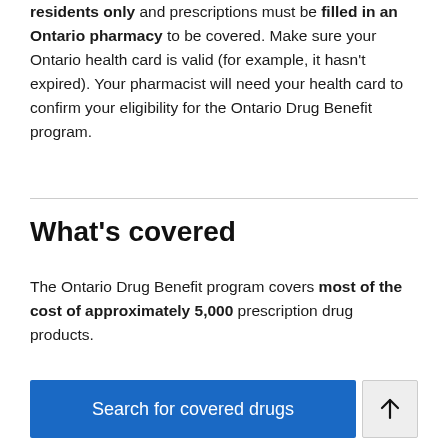residents only and prescriptions must be filled in an Ontario pharmacy to be covered. Make sure your Ontario health card is valid (for example, it hasn't expired). Your pharmacist will need your health card to confirm your eligibility for the Ontario Drug Benefit program.
What's covered
The Ontario Drug Benefit program covers most of the cost of approximately 5,000 prescription drug products.
Search for covered drugs